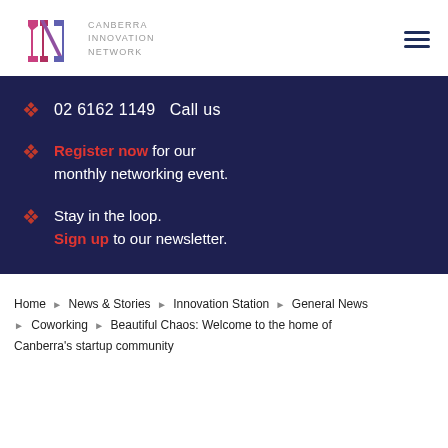Canberra Innovation Network logo and navigation
02 6162 1149  Call us
Register now for our monthly networking event.
Stay in the loop. Sign up to our newsletter.
Home > News & Stories > Innovation Station > General News > Coworking > Beautiful Chaos: Welcome to the home of Canberra's startup community